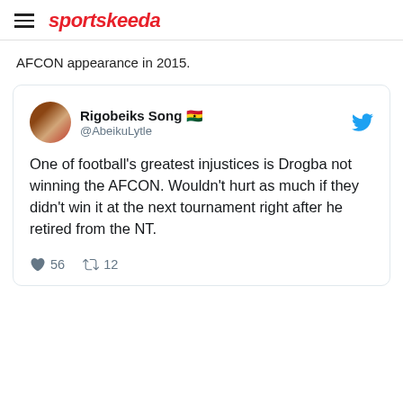sportskeeda
AFCON appearance in 2015.
[Figure (screenshot): Embedded tweet from @AbeikuLytle (Rigobeiks Song) reading: One of football's greatest injustices is Drogba not winning the AFCON. Wouldn't hurt as much if they didn't win it at the next tournament right after he retired from the NT. 56 likes, 12 retweets.]